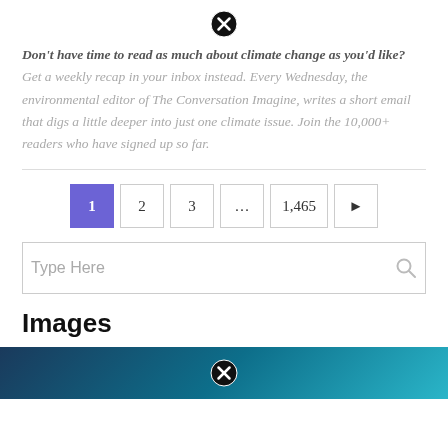[Figure (other): Close/dismiss button (X icon) at top center]
Don't have time to read as much about climate change as you'd like? Get a weekly recap in your inbox instead. Every Wednesday, the environmental editor of The Conversation Imagine, writes a short email that digs a little deeper into just one climate issue. Join the 10,000+ readers who have signed up so far.
Pagination: 1 (active), 2, 3, ..., 1,465, next arrow
Type Here (search box)
Images
[Figure (photo): Dark blue/teal photo partially visible at bottom of page with close (X) icon overlay]